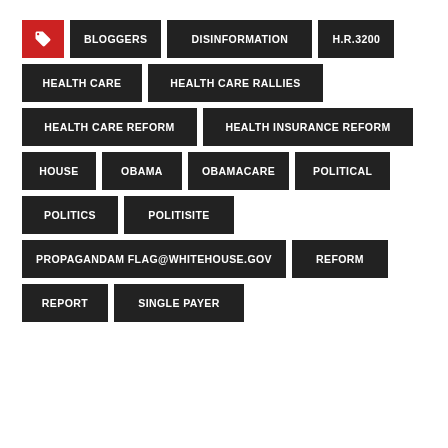BLOGGERS
DISINFORMATION
H.R.3200
HEALTH CARE
HEALTH CARE RALLIES
HEALTH CARE REFORM
HEALTH INSURANCE REFORM
HOUSE
OBAMA
OBAMACARE
POLITICAL
POLITICS
POLITISITE
PROPAGANDAM FLAG@WHITEHOUSE.GOV
REFORM
REPORT
SINGLE PAYER